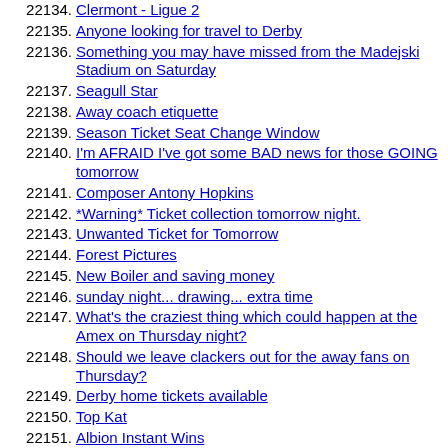22134. Clermont - Ligue 2
22135. Anyone looking for travel to Derby
22136. Something you may have missed from the Madejski Stadium on Saturday
22137. Seagull Star
22138. Away coach etiquette
22139. Season Ticket Seat Change Window
22140. I'm AFRAID I've got some BAD news for those GOING tomorrow
22141. Composer Antony Hopkins
22142. *Warning* Ticket collection tomorrow night.
22143. Unwanted Ticket for Tomorrow
22144. Forest Pictures
22145. New Boiler and saving money
22146. sunday night... drawing... extra time
22147. What's the craziest thing which could happen at the Amex on Thursday night?
22148. Should we leave clackers out for the away fans on Thursday?
22149. Derby home tickets available
22150. Top Kat
22151. Albion Instant Wins
22152. [Albion] Sellout?
22153. Official statement from Kerry Mayo on last night's Twitter comments
22154. Uni parking tomorrow
22155. Sussex by the sea
22156. How far we have come - these stats are quite surprising
22157. [Albion] Brighton & Hove Albion vs Derby County *****